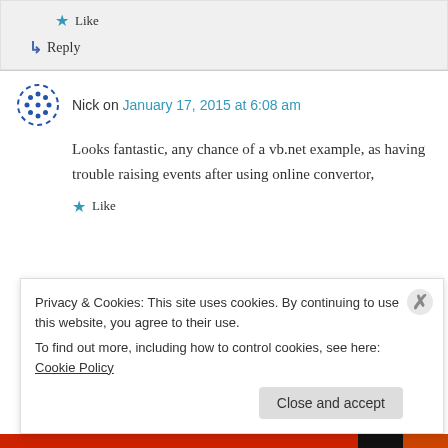Like
Reply
Nick on January 17, 2015 at 6:08 am
Looks fantastic, any chance of a vb.net example, as having trouble raising events after using online convertor,
Like
Privacy & Cookies: This site uses cookies. By continuing to use this website, you agree to their use.
To find out more, including how to control cookies, see here: Cookie Policy
Close and accept